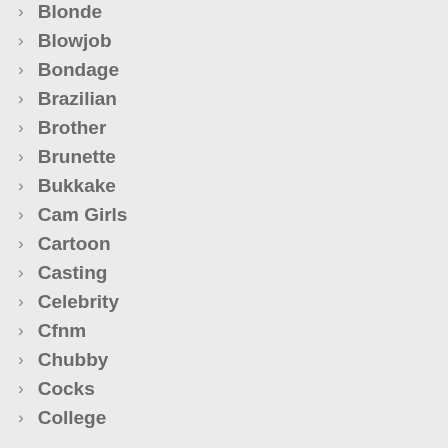Blonde
Blowjob
Bondage
Brazilian
Brother
Brunette
Bukkake
Cam Girls
Cartoon
Casting
Celebrity
Cfnm
Chubby
Cocks
College